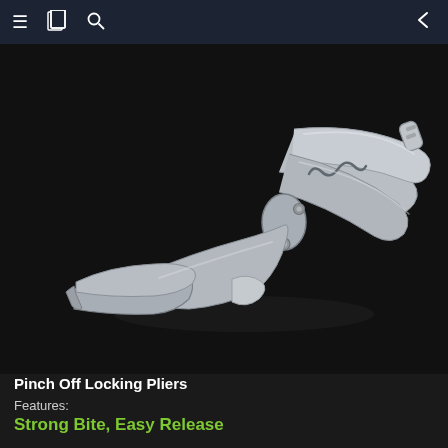≡  📋  🔍  ←
[Figure (photo): Silver metal Pinch Off Locking Pliers photographed against a dark/black background. The pliers are shown diagonally from upper-right to lower-left, displaying the locking mechanism, spring, adjustment screw, and open jaws.]
Pinch Off Locking Pliers
Features:
Strong Bite, Easy Release